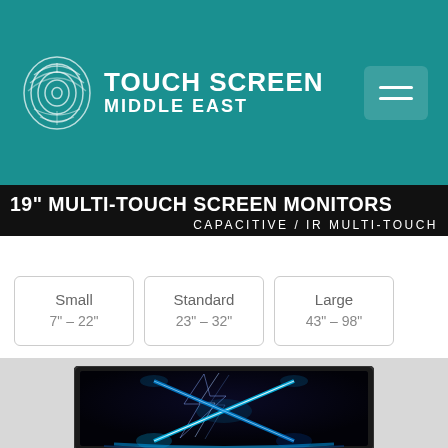[Figure (logo): Touch Screen Middle East logo with fingerprint icon and teal/teal background header with hamburger menu button]
19" MULTI-TOUCH SCREEN MONITORS
CAPACITIVE / IR MULTI-TOUCH
Small 7" - 22"
Standard 23" - 32"
Large 43" - 98"
[Figure (photo): Monitor displaying electric lightning bolt artwork with blue neon glowing X shape on dark background]